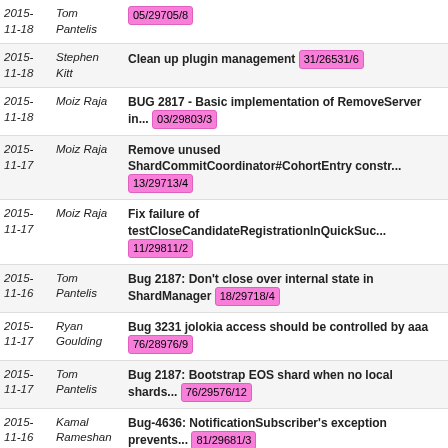2015-11-18 | Tom Pantelis | 05/29705/8
2015-11-18 | Stephen Kitt | Clean up plugin management 31/26531/6
2015-11-18 | Moiz Raja | BUG 2817 - Basic implementation of RemoveServer in... 03/29803/3
2015-11-17 | Moiz Raja | Remove unused ShardCommitCoordinator#CohortEntry constr... 13/29713/4
2015-11-17 | Moiz Raja | Fix failure of testCloseCandidateRegistrationInQuickSuc... 11/29811/2
2015-11-16 | Tom Pantelis | Bug 2187: Don't close over internal state in ShardManager 18/29718/4
2015-11-17 | Ryan Goulding | Bug 3231 jolokia access should be controlled by aaa 76/28976/9
2015-11-17 | Tom Pantelis | Bug 2187: Bootstrap EOS shard when no local shards... 76/29576/12
2015-11-16 | Kamal Rameshan | Bug-4636: NotificationSubscriber's exception prevents... 81/29681/3
2015-11-16 | Stephen Kitt | Specify dsbenchmark's parent POM relativePath 45/29745/1
2015- | kalaiselvik | BUG 2187 - Persisting shard list in ShardManager